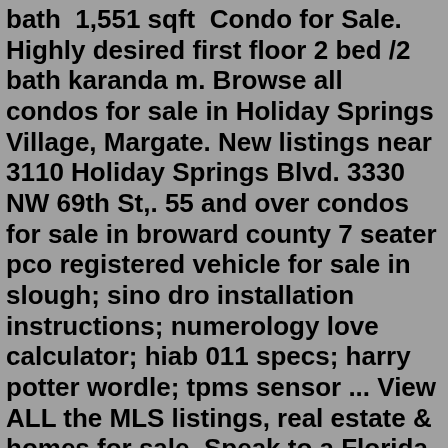bath  1,551 sqft  Condo for Sale. Highly desired first floor 2 bed /2 bath karanda m. Browse all condos for sale in Holiday Springs Village, Margate. New listings near 3110 Holiday Springs Blvd. 3330 NW 69th St,. 55 and over condos for sale in broward county 7 seater pco registered vehicle for sale in slough; sino dro installation instructions; numerology love calculator; hiab 011 specs; harry potter wordle; tpms sensor ... View ALL the MLS listings, real estate & homes for sale. Speak to a Florida realtor & specialist now at (561) 322-3330.Boynton Beach, FL. Mid $300s - High $500s. 696 Homes. 55+ Age Restriction. Resale Homes Only. View This Community.View ALL the MLS listings, real estate & homes for sale. Speak to a Florida realtor & specialist now at (561) 322-3330.Jul 13, 2010 · My husband and I (mid60's) are looking to buy in an over- 55 condo villa community in Broward county which has a courtesy bus within the community. I am familiar with the Century Village communities but they don't appear to have the "villa" style of condo, on one floor with a garage. 10100 NW